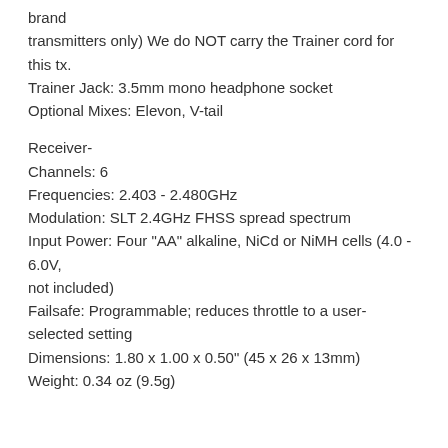brand transmitters only) We do NOT carry the Trainer cord for this tx.
Trainer Jack: 3.5mm mono headphone socket
Optional Mixes: Elevon, V-tail
Receiver-
Channels: 6
Frequencies: 2.403 - 2.480GHz
Modulation: SLT 2.4GHz FHSS spread spectrum
Input Power: Four "AA" alkaline, NiCd or NiMH cells (4.0 - 6.0V, not included)
Failsafe: Programmable; reduces throttle to a user-selected setting
Dimensions: 1.80 x 1.00 x 0.50" (45 x 26 x 13mm)
Weight: 0.34 oz (9.5g)